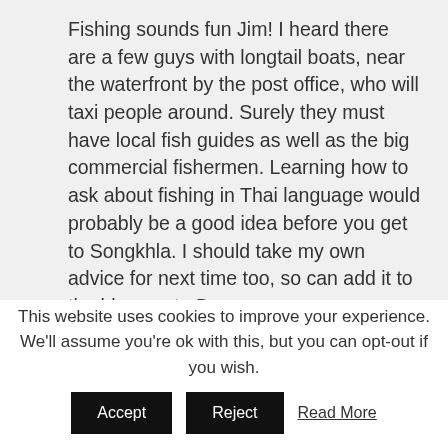Fishing sounds fun Jim! I heard there are a few guys with longtail boats, near the waterfront by the post office, who will taxi people around. Surely they must have local fish guides as well as the big commercial fishermen. Learning how to ask about fishing in Thai language would probably be a good idea before you get to Songkhla. I should take my own advice for next time too, so can add it to the blog post. :D
Reply
This website uses cookies to improve your experience. We'll assume you're ok with this, but you can opt-out if you wish.
Accept
Reject
Read More